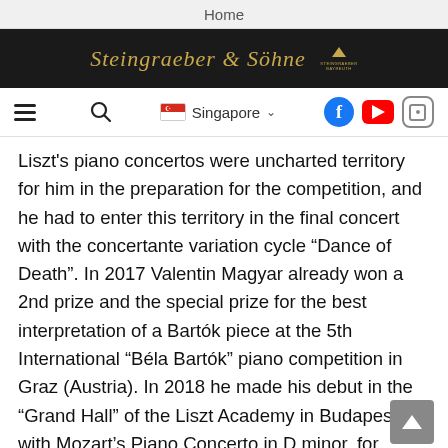Home
[Figure (logo): Steingraeber & Söhne logo with golden italic text on dark background and a small golden icon to the right]
≡  🔍  🇸🇬 Singapore ∨  Facebook  YouTube  Instagram
Liszt's piano concertos were uncharted territory for him in the preparation for the competition, and he had to enter this territory in the final concert with the concertante variation cycle "Dance of Death". In 2017 Valentin Magyar already won a 2nd prize and the special prize for the best interpretation of a Bartók piece at the 5th International "Béla Bartók" piano competition in Graz (Austria). In 2018 he made his debut in the "Grand Hall" of the Liszt Academy in Budapest with Mozart's Piano Concerto in D minor, for which he had composed his own cadenzas, as a soloist in the "Anima Musicae" chamber orchestra. Solo concerts also took him to many cities in Hungary, to Vienna and Belgrade. In February 2021 he played Johann Sebastian Bach's Piano Concerto in